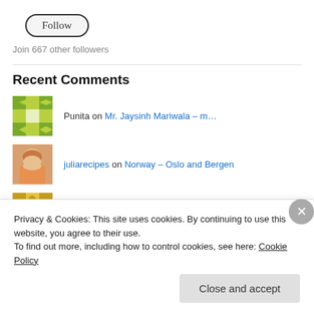Follow
Join 667 other followers
Recent Comments
Punita on Mr. Jaysinh Mariwala – m…
juliarecipes on Norway – Oslo and Bergen
Devpriya Bihani on Sedona (Arizona)
Privacy & Cookies: This site uses cookies. By continuing to use this website, you agree to their use.
To find out more, including how to control cookies, see here: Cookie Policy
Close and accept